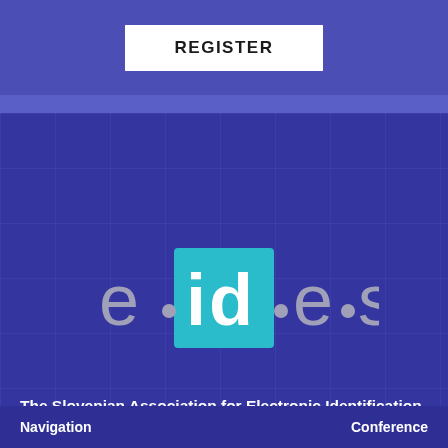REGISTER
[Figure (logo): e·id·e·s logo — stylized text with a teal/cyan square background behind 'id', dots between letters, in gray and white on dark blue background]
The Slovenian Association for Electronic Identification and Electronic Trust Services
Ulica bratov Učakar 8,
1000 Ljubljana
Navigation    Conference